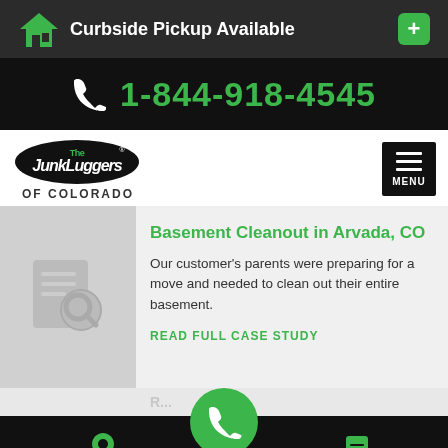Curbside Pickup Available
1-844-918-4545
[Figure (logo): The Junkluggers of Colorado logo with hamburger menu button]
Basement Cleanout in Arvada, CO
Our customer's parents were preparing for a move and needed to clean out their entire basement.
READ FULL CASE STUDY
SERVICE AREA  BOOK NOW